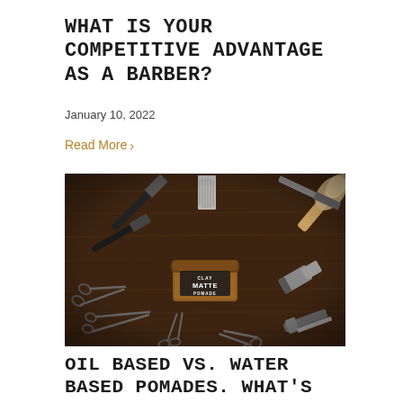WHAT IS YOUR COMPETITIVE ADVANTAGE AS A BARBER?
January 10, 2022
Read More >
[Figure (photo): Overhead flat-lay photo on a dark wooden surface showing barber tools arranged radially around a central amber jar labeled 'CLAY MATTE POMADE'. Tools include straight razors, scissors, clippers, combs, a shaving brush, and other grooming implements.]
OIL BASED VS. WATER BASED POMADES. WHAT'S THE